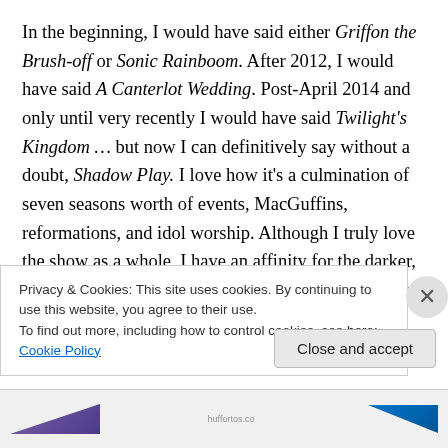In the beginning, I would have said either Griffon the Brush-off or Sonic Rainboom. After 2012, I would have said A Canterlot Wedding. Post-April 2014 and only until very recently I would have said Twilight's Kingdom … but now I can definitively say without a doubt, Shadow Play. I love how it's a culmination of seven seasons worth of events, MacGuffins, reformations, and idol worship. Although I truly love the show as a whole, I have an affinity for the darker, more story-driven episodes as opposed to the Slice of Life-type character growth ones; Shadow Play
Privacy & Cookies: This site uses cookies. By continuing to use this website, you agree to their use.
To find out more, including how to control cookies, see here: Cookie Policy
Close and accept